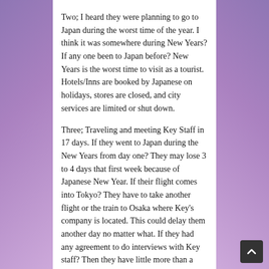Two; I heard they were planning to go to Japan during the worst time of the year. I think it was somewhere during New Years? If any one been to Japan before? New Years is the worst time to visit as a tourist. Hotels/Inns are booked by Japanese on holidays, stores are closed, and city services are limited or shut down.
Three; Traveling and meeting Key Staff in 17 days. If they went to Japan during the New Years from day one? They may lose 3 to 4 days that first week because of Japanese New Year. If their flight comes into Tokyo? They have to take another flight or the train to Osaka where Key's company is located. This could delay them another day no matter what. If they had any agreement to do interviews with Key staff? Then they have little more than a week to get any interviews, if Key staff are not busy?
Four; Game locations in real life recording? I